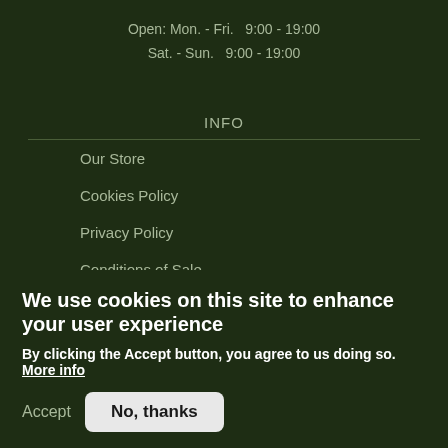Open: Mon. - Fri.  9:00 - 19:00
Sat. - Sun.  9:00 - 19:00
INFO
Our Store
Cookies Policy
Privacy Policy
Conditions of Sale
Secure Payment
Shipping Charges
We use cookies on this site to enhance your user experience
By clicking the Accept button, you agree to us doing so. More info
Accept
No, thanks